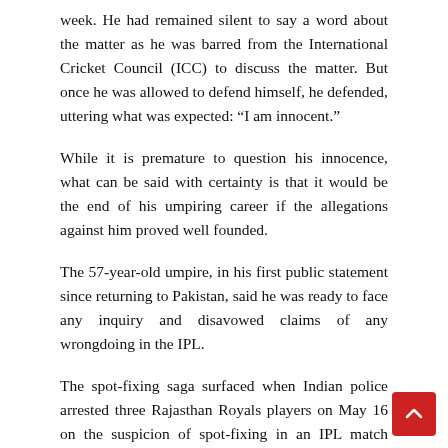week. He had remained silent to say a word about the matter as he was barred from the International Cricket Council (ICC) to discuss the matter. But once he was allowed to defend himself, he defended, uttering what was expected: “I am innocent.”
While it is premature to question his innocence, what can be said with certainty is that it would be the end of his umpiring career if the allegations against him proved well founded.
The 57-year-old umpire, in his first public statement since returning to Pakistan, said he was ready to face any inquiry and disavowed claims of any wrongdoing in the IPL.
The spot-fixing saga surfaced when Indian police arrested three Rajasthan Royals players on May 16 on the suspicion of spot-fixing in an IPL match against